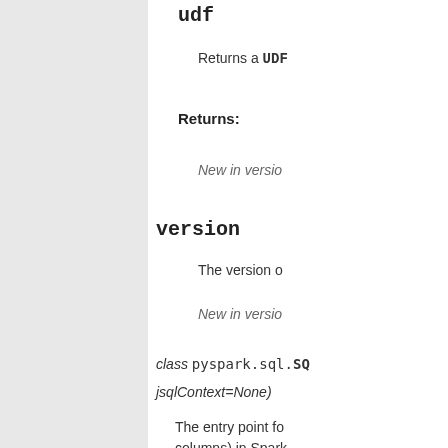udf
Returns a UDF
Returns:
New in version
version
The version of
New in version
class pyspark.sql.SQ jsqlContext=None)
The entry point for columns) in Spark
As of Spark 2.0, th are keeping the cl
A SQLContext can DataFrame as tab read parquet flo